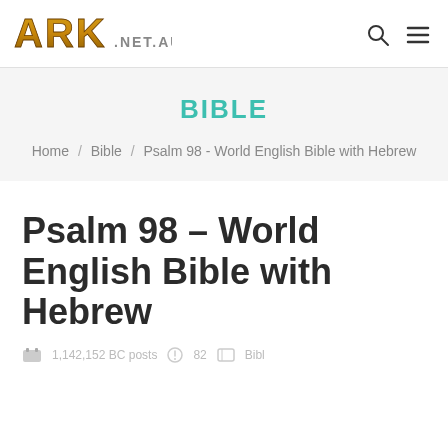ARK.NET.AU — site logo with search and menu icons
BIBLE
Home / Bible / Psalm 98 - World English Bible with Hebrew
Psalm 98 - World English Bible with Hebrew
1,142,152 BC posts   82 comments   Bible